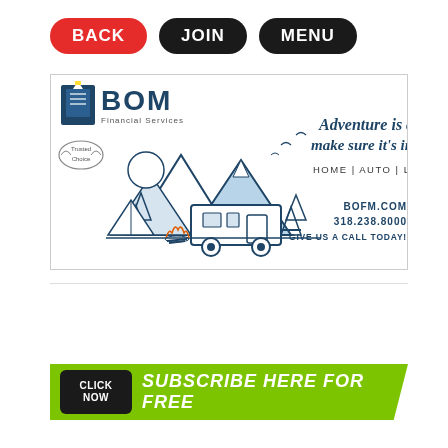[Figure (other): Navigation buttons: BACK (red pill), JOIN (black pill), MENU (black pill)]
[Figure (infographic): BOM Financial Services insurance advertisement. Shows BOM logo with lighthouse icon and 'Trusted Choice' badge on left side. Center shows illustrated camping/RV scene with mountains, trees, camper trailer, tent, and campfire in navy blue line art style. Right side shows cursive text 'Adventure is calling... make sure it's insured!' followed by 'HOME | AUTO | LIFE | COMMERCIAL' and contact info: BOFM.COM, 318.238.8000, GIVE US A CALL TODAY!]
[Figure (infographic): Subscribe banner: green background with black 'CLICK NOW' button and italic white text 'SUBSCRIBE HERE FOR FREE']